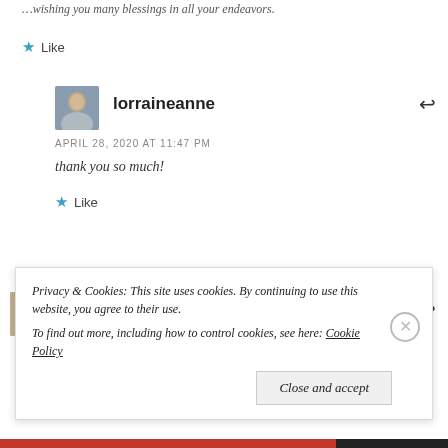…wishing you many blessings in all your endeavors.
★ Like
lorraineanne
APRIL 28, 2020 AT 11:47 PM
thank you so much!
★ Like
M. L. Kappa
Privacy & Cookies: This site uses cookies. By continuing to use this website, you agree to their use.
To find out more, including how to control cookies, see here: Cookie Policy
Close and accept